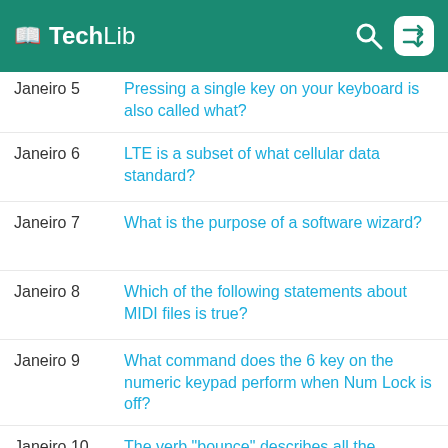TechLib
Janeiro 5 | Pressing a single key on your keyboard is also called what?
Janeiro 6 | LTE is a subset of what cellular data standard?
Janeiro 7 | What is the purpose of a software wizard?
Janeiro 8 | Which of the following statements about MIDI files is true?
Janeiro 9 | What command does the 6 key on the numeric keypad perform when Num Lock is off?
Janeiro 10 | The verb "bounce" describes all the following actions besides what?
Janeiro 11 | The Veronica search engine is used to